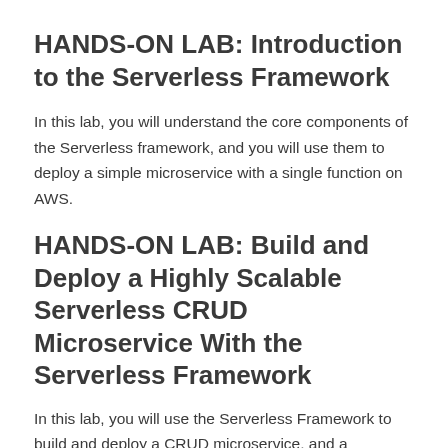HANDS-ON LAB: Introduction to the Serverless Framework
In this lab, you will understand the core components of the Serverless framework, and you will use them to deploy a simple microservice with a single function on AWS.
HANDS-ON LAB: Build and Deploy a Highly Scalable Serverless CRUD Microservice With the Serverless Framework
In this lab, you will use the Serverless Framework to build and deploy a CRUD microservice, and a DynamoDB table the microservice will use to store and retrieve data.
HANDS-ON LAB: Sending Async Fan-Out Messages Using the Serverless...